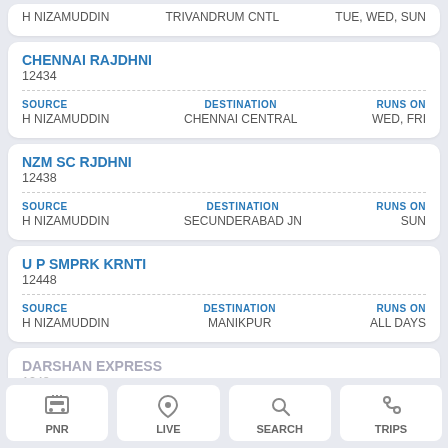H NIZAMUDDIN | TRIVANDRUM CNTL | TUE, WED, SUN
| Train Name | Number | Source | Destination | Runs On |
| --- | --- | --- | --- | --- |
| CHENNAI RAJDHNI | 12434 | H NIZAMUDDIN | CHENNAI CENTRAL | WED, FRI |
| NZM SC RJDHNI | 12438 | H NIZAMUDDIN | SECUNDERABAD JN | SUN |
| U P SMPRK KRNTI | 12448 | H NIZAMUDDIN | MANIKPUR | ALL DAYS |
| DARSHAN EXPRESS | 1248... | SOURCE... | DESTINATION... | ON |
PNR | LIVE | SEARCH | TRIPS